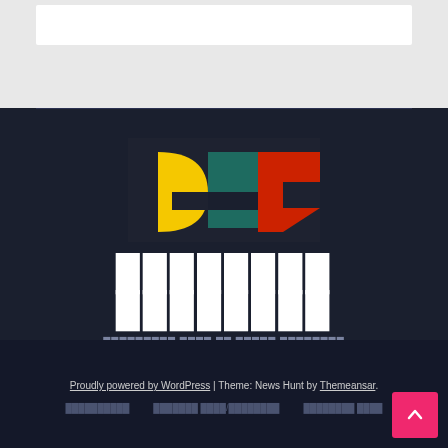[Figure (screenshot): White search bar / header input area on light grey background]
[Figure (logo): Colorful abstract logo with yellow, teal/green, and red geometric shapes on dark background]
████████ ████████
█████████ ████ ██ █████ ████████
Proudly powered by WordPress | Theme: News Hunt by Themeansar.
██████████   ███████ ████/████████   ████████ ████